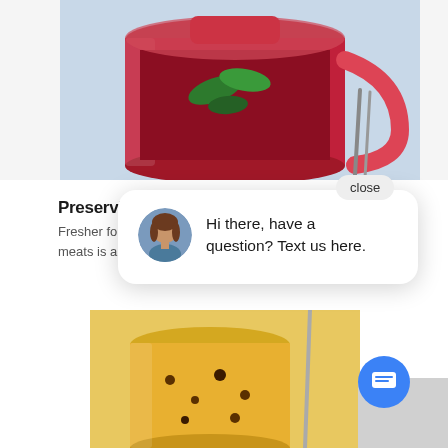[Figure (photo): A glass jar filled with dark red liquid and green mint leaves, with a fork/spoon beside it, on a blue cloth background.]
Preserving
Fresher for... meats is a b...
[Figure (screenshot): A chat widget popup with a close button, showing an avatar of a woman and the message: 'Hi there, have a question? Text us here.' with a blue chat icon button below.]
[Figure (photo): A jar with golden/yellow contents and dark seeds or pieces, partially visible at the bottom of the page.]